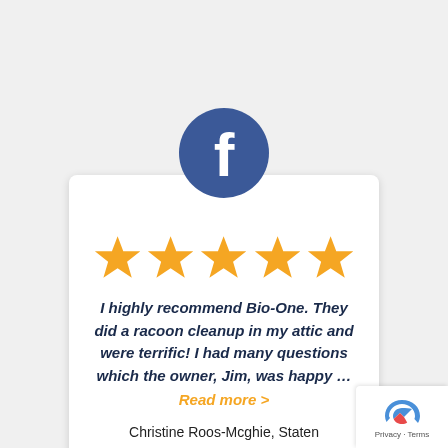[Figure (logo): Facebook logo — blue circle with white 'f' letter]
[Figure (infographic): Five orange star rating icons]
I highly recommend Bio-One. They did a racoon cleanup in my attic and were terrific! I had many questions which the owner, Jim, was happy … Read more >
Christine Roos-Mcghie, Staten